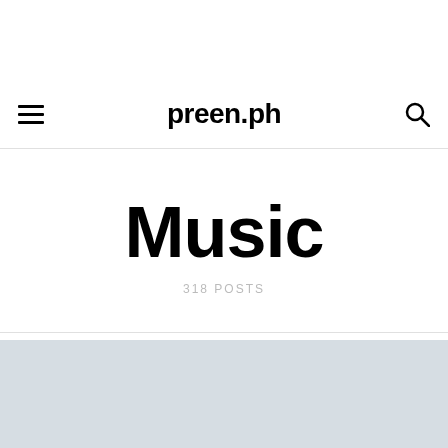preen.ph
Music
318 POSTS
[Figure (photo): Gray placeholder image area at the bottom of the page]